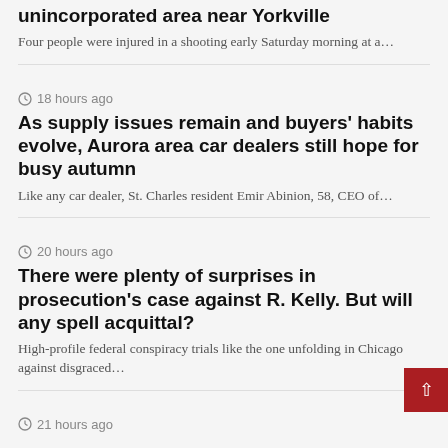Shooting injures four people at party in unincorporated area near Yorkville
Four people were injured in a shooting early Saturday morning at a…
18 hours ago
As supply issues remain and buyers' habits evolve, Aurora area car dealers still hope for busy autumn
Like any car dealer, St. Charles resident Emir Abinion, 58, CEO of…
20 hours ago
There were plenty of surprises in prosecution's case against R. Kelly. But will any spell acquittal?
High-profile federal conspiracy trials like the one unfolding in Chicago against disgraced…
21 hours ago